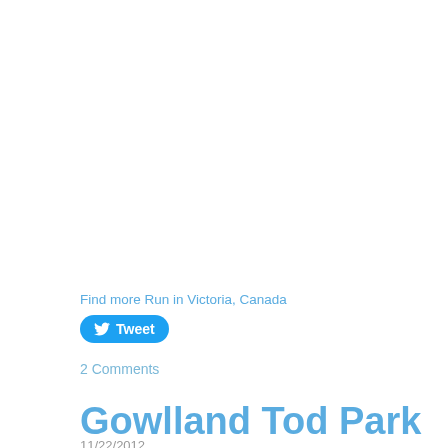Find more Run in Victoria, Canada
Tweet
2 Comments
Gowlland Tod Park
11/22/2012